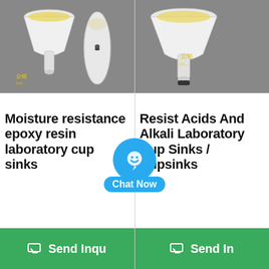[Figure (photo): Two white laboratory cup sinks (funnels) shown against gray background, left product shows front and back views, right product shows side view. Yellow watermark logo visible.]
Moisture resistance epoxy resin laboratory cup sinks
Resist Acids And Alkali Laboratory Cup Sinks / Cupsinks
Send Inqu
Send In